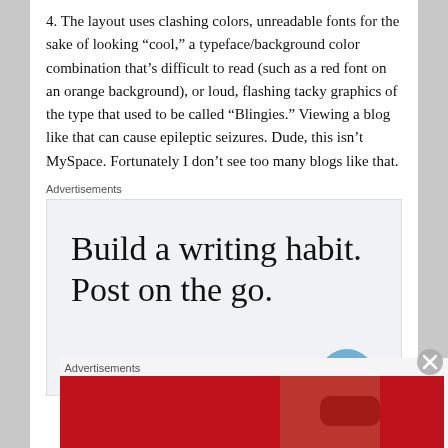4. The layout uses clashing colors, unreadable fonts for the sake of looking “cool,” a typeface/background color combination that’s difficult to read (such as a red font on an orange background), or loud, flashing tacky graphics of the type that used to be called “Blingies.” Viewing a blog like that can cause epileptic seizures. Dude, this isn’t MySpace. Fortunately I don’t see too many blogs like that.
Advertisements
[Figure (other): Advertisement box with large serif text reading 'Build a writing habit. Post on the go.' on a light grey background, with a partial blue circular logo visible at the bottom right.]
Advertisements
[Figure (other): Macy's advertisement banner with red background showing a woman's face with red lips. Text reads 'KISS BORING LIPS GOODBYE' with a 'SHOP NOW' button and Macy's star logo on the right.]